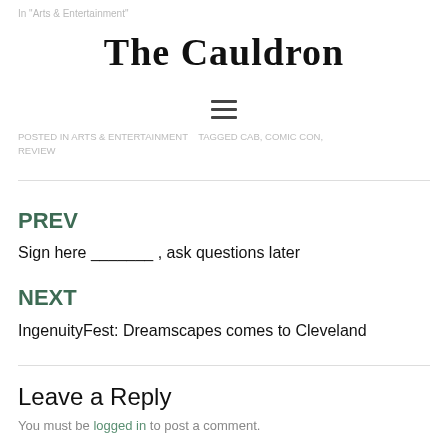In "Arts & Entertainment"
The Cauldron
POSTED IN ARTS & ENTERTAINMENT   TAGGED CAB, COMIC CON, REVIEW
PREV
Sign here _______ , ask questions later
NEXT
IngenuityFest: Dreamscapes comes to Cleveland
Leave a Reply
You must be logged in to post a comment.